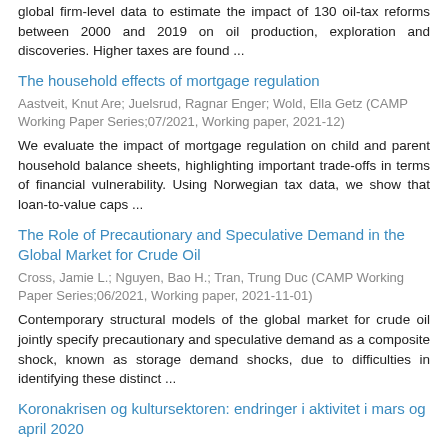global firm-level data to estimate the impact of 130 oil-tax reforms between 2000 and 2019 on oil production, exploration and discoveries. Higher taxes are found ...
The household effects of mortgage regulation
Aastveit, Knut Are; Juelsrud, Ragnar Enger; Wold, Ella Getz (CAMP Working Paper Series;07/2021, Working paper, 2021-12)
We evaluate the impact of mortgage regulation on child and parent household balance sheets, highlighting important trade-offs in terms of financial vulnerability. Using Norwegian tax data, we show that loan-to-value caps ...
The Role of Precautionary and Speculative Demand in the Global Market for Crude Oil
Cross, Jamie L.; Nguyen, Bao H.; Tran, Trung Duc (CAMP Working Paper Series;06/2021, Working paper, 2021-11-01)
Contemporary structural models of the global market for crude oil jointly specify precautionary and speculative demand as a composite shock, known as storage demand shocks, due to difficulties in identifying these distinct ...
Koronakrisen og kultursektoren: endringer i aktivitet i mars og april 2020